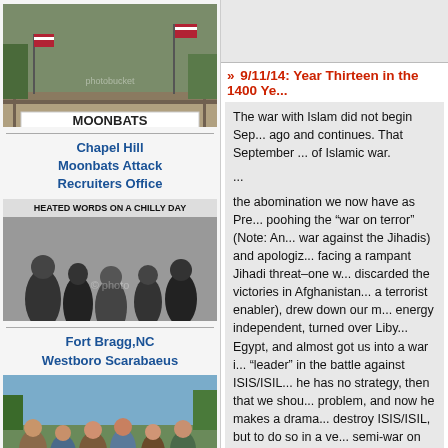[Figure (photo): Photo of bridge with banner reading 'MOONBATS SHUT UP GO HOME' and American flags]
Chapel Hill
Moonbats Attack
Recruiters Office
[Figure (photo): Black and white newspaper photo with headline 'HEATED WORDS ON A CHILLY DAY']
Fort Bragg,NC
Westboro Scarabaeus
[Figure (photo): Color photo of people gathered outdoors]
» 9/11/14: Year Thirteen in the 1400 Ye...
The war with Islam did not begin Sep... ago and continues. That September ... of Islamic war.
...
the abomination we now have as Pre... poohing the "war on terror" (Note: An... war against the Jihadis) and apologiz... facing a rampant Jihadi threat–one w... discarded the victories in Afghanistan... a terrorist enabler), drew down our m... energy independent, turned over Liby... Egypt, and almost got us into a war i... "leader" in the battle against ISIS/ISIL... he has no strategy, then that we shou... problem, and now he makes a drama... destroy ISIS/ISIL, but to do so in a ve... semi-war on the very same people a... to help overthrow Syria's Assad